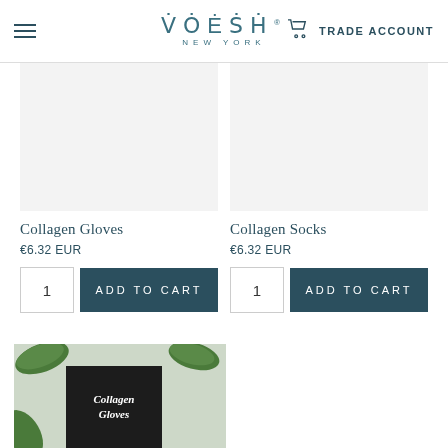VOESH NEW YORK — TRADE ACCOUNT
Collagen Gloves
€6.32 EUR
1  ADD TO CART
Collagen Socks
€6.32 EUR
1  ADD TO CART
[Figure (photo): Product photo of Collagen Gloves package — a dark packet with white serif text 'Collagen Gloves' surrounded by fresh green leaves on a light background]